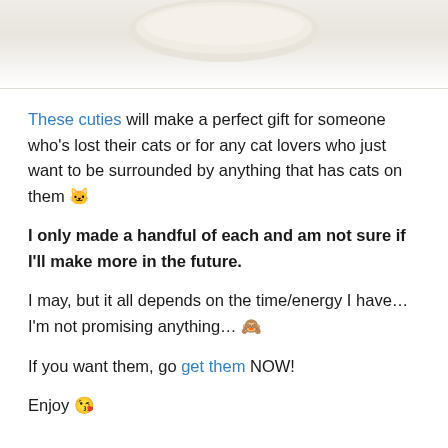[Figure (photo): Partial view of a light-colored cat-themed object (likely a decorative item or pillow), cream/beige colored, shown from above against a white background.]
These cuties will make a perfect gift for someone who's lost their cats or for any cat lovers who just want to be surrounded by anything that has cats on them 🐱
I only made a handful of each and am not sure if I'll make more in the future.
I may, but it all depends on the time/energy I have… I'm not promising anything… 🙈
If you want them, go get them NOW!
Enjoy 😘